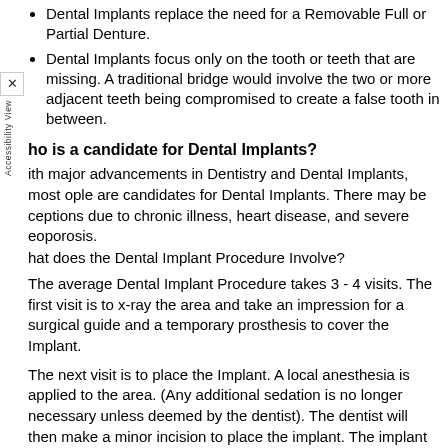Dental Implants replace the need for a Removable Full or Partial Denture.
Dental Implants focus only on the tooth or teeth that are missing. A traditional bridge would involve the two or more adjacent teeth being compromised to create a false tooth in between.
Who is a candidate for Dental Implants?
With major advancements in Dentistry and Dental Implants, most people are candidates for Dental Implants. There may be exceptions due to chronic illness, heart disease, and severe osteoporosis.
What does the Dental Implant Procedure Involve?
The average Dental Implant Procedure takes 3 - 4 visits. The first visit is to x-ray the area and take an impression for a surgical guide and a temporary prosthesis to cover the Implant.
The next visit is to place the Implant. A local anesthesia is applied to the area. (Any additional sedation is no longer necessary unless deemed by the dentist). The dentist will then make a minor incision to place the implant. The implant is placed into the jaw bone. The area will then be covered with sutures. The procedure is usually completed with minor pain.